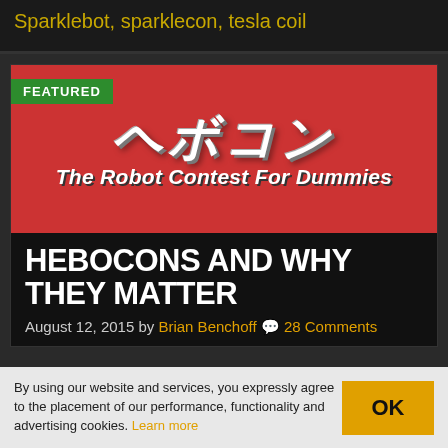Sparklebot, sparklecon, tesla coil
[Figure (illustration): Featured banner image for Hebocon article. Red background with Japanese characters (ヘボコン) in large stylized white 3D text, and subtitle 'The Robot Contest For Dummies' in large white bold italic text. Green 'FEATURED' badge in top-left corner.]
HEBOCONS AND WHY THEY MATTER
August 12, 2015 by Brian Benchoff 💬 28 Comments
By using our website and services, you expressly agree to the placement of our performance, functionality and advertising cookies. Learn more